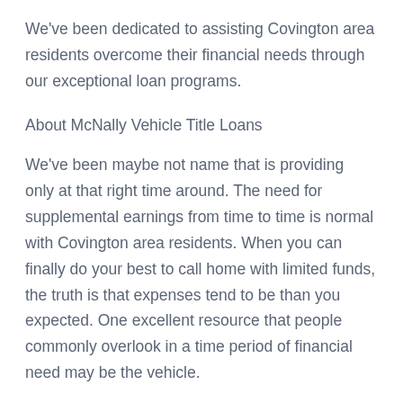We've been dedicated to assisting Covington area residents overcome their financial needs through our exceptional loan programs.
About McNally Vehicle Title Loans
We've been maybe not name that is providing only at that right time around. The need for supplemental earnings from time to time is normal with Covington area residents. When you can finally do your best to call home with limited funds, the truth is that expenses tend to be than you expected. One excellent resource that people commonly overlook in a time period of financial need may be the vehicle.
Your automobile is really